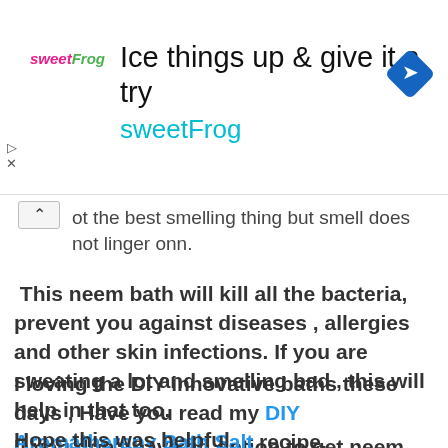[Figure (screenshot): Advertisement banner for sweetFrog with text 'Ice things up & give it a try' and 'sweetFrog' in cyan, with logo and navigation arrow icon]
ot the best smelling thing but smell does not linger onn.
This neem bath will kill all the bacteria, prevent you against diseases , allergies and other skin infections. If you are sweating a lot and smelling bad , this will help in that too.
If you don't have an option to get neem leaves , just use neem oil .
I loving the DIY innovative baths these days , Have you read my DIY Aromatherapy Bath Salt recipe.
Hope this was helpful.